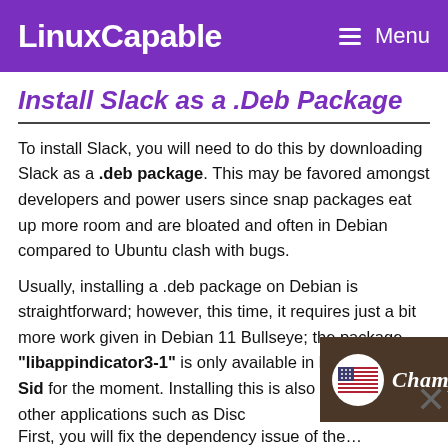LinuxCapable  ☰ Menu
Install Slack as a .Deb Package
To install Slack, you will need to do this by downloading Slack as a .deb package. This may be favored amongst developers and power users since snap packages eat up more room and are bloated and often in Debian compared to Ubuntu clash with bugs.
Usually, installing a .deb package on Debian is straightforward; however, this time, it requires just a bit more work given in Debian 11 Bullseye; the package "libappindicator3-1" is only available in Buster and Sid for the moment. Installing this is also necessary for other applications such as Disc…
[Figure (photo): ChampsDiet advertisement banner with US flag badge, script logo text, and FREE RECIPES button over food background]
First, you will fix the dependency issue of the…